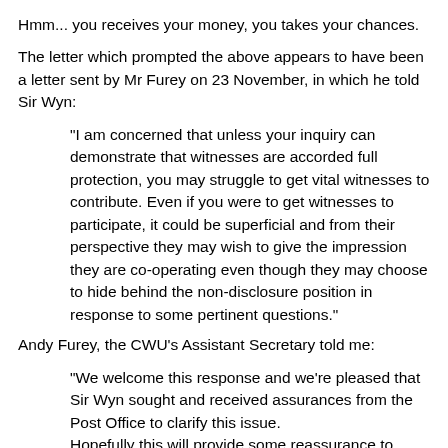Hmm... you receives your money, you takes your chances.
The letter which prompted the above appears to have been a letter sent by Mr Furey on 23 November, in which he told Sir Wyn:
"I am concerned that unless your inquiry can demonstrate that witnesses are accorded full protection, you may struggle to get vital witnesses to contribute. Even if you were to get witnesses to participate, it could be superficial and from their perspective they may wish to give the impression they are co-operating even though they may choose to hide behind the non-disclosure position in response to some pertinent questions."
Andy Furey, the CWU's Assistant Secretary told me:
"We welcome this response and we're pleased that Sir Wyn sought and received assurances from the Post Office to clarify this issue. Hopefully this will provide some reassurance to